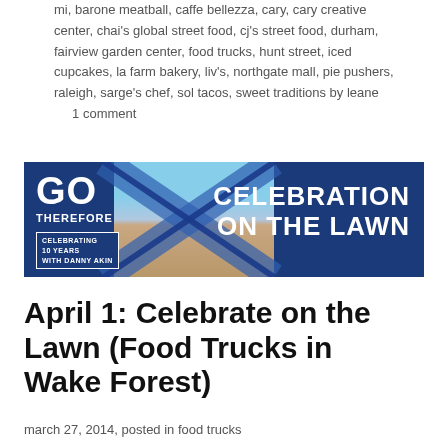mi, barone meatball, caffe bellezza, cary, cary creative center, chai's global street food, cj's street food, durham, fairview garden center, food trucks, hunt street, iced cupcakes, la farm bakery, liv's, northgate mall, pie pushers, raleigh, sarge's chef, sol tacos, sweet traditions by leane     1 comment
[Figure (photo): Banner image with dark blue background showing a building with a clock tower/steeple. Large white bold text reads 'GO THEREFORE' on the left with a box reading 'CELEBRATING 10 YEARS WITH DANNY AKIN'. On the right, large white bold text reads 'CELEBRATION ON THE LAWN'. An X shape graphic overlays the center.]
April 1: Celebrate on the Lawn (Food Trucks in Wake Forest)
march 27, 2014, posted in food trucks